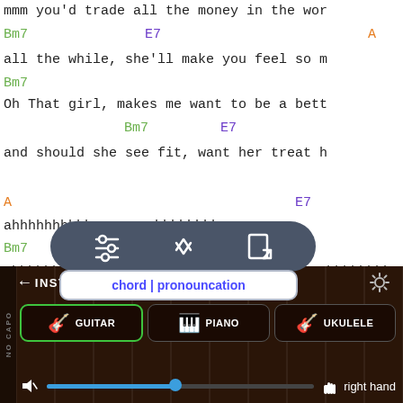mmm you'd trade all the money in the wor
Bm7   E7   A
all the while, she'll make you feel so m
Bm7
Oh That girl, makes me want to be a bett
Bm7   E7
and should she see fit, want her treat h
A   E7
ahhhhhhhhhh   ahhhhhhhh
Bm7   E7   A
ahhhhhhhhhh   ahhhhhhhh
[Figure (screenshot): Popup toolbar with sliders/sort icons in dark rounded pill, and chord|pronouncation menu below]
chord | pronouncation
← INSTRUMENT SETTINGS
GUITAR   PIANO   UKULELE
right hand